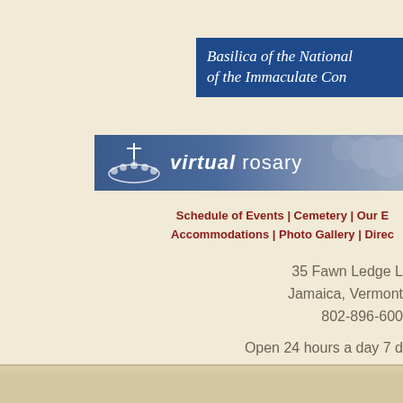Basilica of the National Shrine of the Immaculate Conception
[Figure (logo): Virtual rosary banner with blue background, rosary icon, and text 'virtual rosary']
Schedule of Events | Cemetery | Our B... Accommodations | Photo Gallery | Direc...
35 Fawn Ledge L
Jamaica, Vermont
802-896-600
Open 24 hours a day 7 d
© Our Lady of Ephesus House of Prayer,